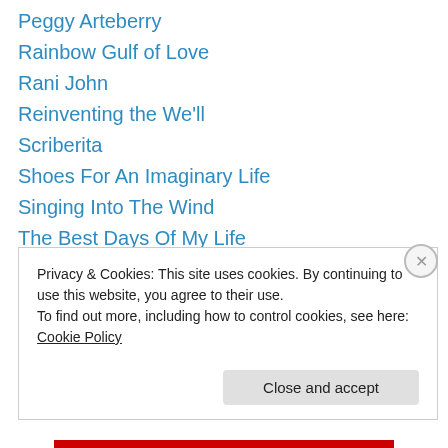Peggy Arteberry
Rainbow Gulf of Love
Rani John
Reinventing the We'll
Scriberita
Shoes For An Imaginary Life
Singing Into The Wind
The Best Days Of My Life
The Fisher Lady
thenoreaster
Thorns and Myrtles
Tonirand's Blog
Two Minutes of Grace
Privacy & Cookies: This site uses cookies. By continuing to use this website, you agree to their use.
To find out more, including how to control cookies, see here: Cookie Policy
Close and accept